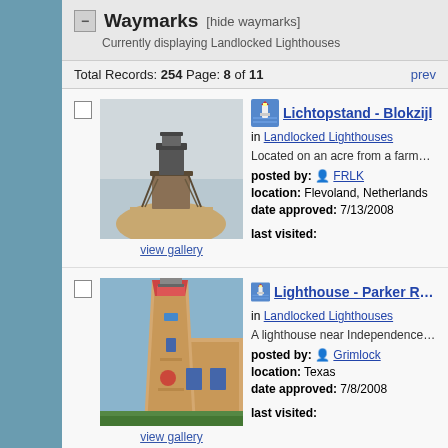Waymarks [hide waymarks] Currently displaying Landlocked Lighthouses
Total Records: 254 Page: 8 of 11
[Figure (photo): Photo of Lichtopstand - Blokzijl lighthouse structure on a sandy mound with metal framework]
Lichtopstand - Blokzijl in Landlocked Lighthouses. Located on an acre from a farmer along the Blok... posted by: FRLK location: Flevoland, Netherlands date approved: 7/13/2008 last visited:
[Figure (photo): Photo of Lighthouse - Parker Road - Plano, T - a tan/beige lighthouse tower next to a building]
Lighthouse - Parker Road - Plano, T in Landlocked Lighthouses. A lighthouse near Independence and Parker in P... posted by: Grimlock location: Texas date approved: 7/8/2008 last visited: